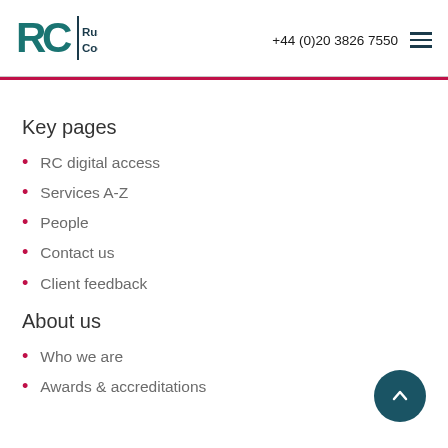Russell Cooke | +44 (0)20 3826 7550
Key pages
RC digital access
Services A-Z
People
Contact us
Client feedback
About us
Who we are
Awards & accreditations